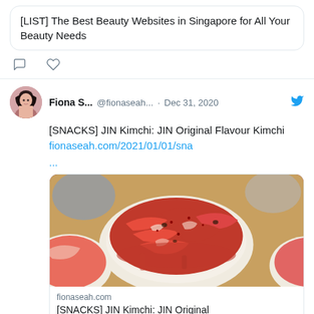[LIST] The Best Beauty Websites in Singapore for All Your Beauty Needs
[Figure (screenshot): Tweet by Fiona S. (@fionaseah...) dated Dec 31, 2020. Text: [SNACKS] JIN Kimchi: JIN Original Flavour Kimchi fionaseah.com/2021/01/01/sna ... with a photo of kimchi in a white bowl and a link preview card for fionaseah.com showing [SNACKS] JIN Kimchi: JIN Original Flavour Kimchi]